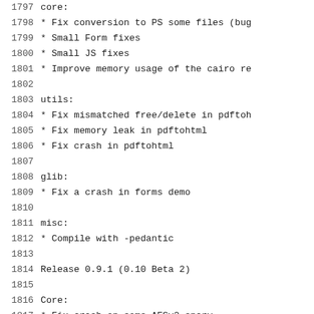1797    core:
1798     * Fix conversion to PS some files (bug
1799     * Small Form fixes
1800     * Small JS fixes
1801     * Improve memory usage of the cairo re
1802
1803    utils:
1804     * Fix mismatched free/delete in pdftoh
1805     * Fix memory leak in pdftohtml
1806     * Fix crash in pdftohtml
1807
1808    glib:
1809     * Fix a crash in forms demo
1810
1811    misc:
1812     * Compile with -pedantic
1813
1814  Release 0.9.1 (0.10 Beta 2)
1815
1816    Core:
1817          * Fix crash on some AESv2 encry
1818          * Improve parsing of broken fil